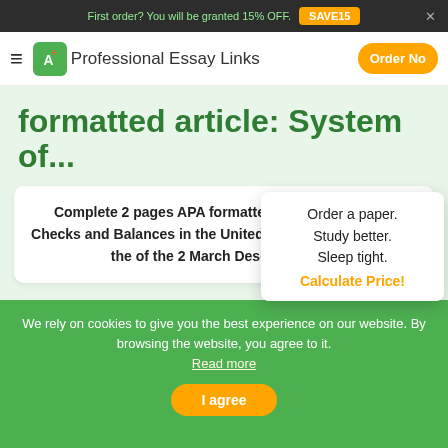First order? You will be granted 15% OFF. SAVE15
Professional Essay Links  Order Now
formatted article: System of...
Complete 2 pages APA formatted article: System of Checks and Balances in the United States Constitution. of the of the 2 March Descr system...
Order a paper. Study better. Sleep tight. Calculate Price!
We rely on cookies to give you the best experience on our website. By browsing the website, you agree to it. Read more
I agree